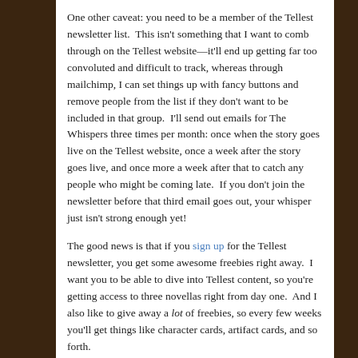One other caveat: you need to be a member of the Tellest newsletter list.  This isn't something that I want to comb through on the Tellest website—it'll end up getting far too convoluted and difficult to track, whereas through mailchimp, I can set things up with fancy buttons and remove people from the list if they don't want to be included in that group.  I'll send out emails for The Whispers three times per month: once when the story goes live on the Tellest website, once a week after the story goes live, and once more a week after that to catch any people who might be coming late.  If you don't join the newsletter before that third email goes out, your whisper just isn't strong enough yet!
The good news is that if you sign up for the Tellest newsletter, you get some awesome freebies right away.  I want you to be able to dive into Tellest content, so you're getting access to three novellas right from day one.  And I also like to give away a lot of freebies, so every few weeks you'll get things like character cards, artifact cards, and so forth.
For now though, if you want to see what this first chapter for The Whispers looks like, read on.  It's a long first chapter